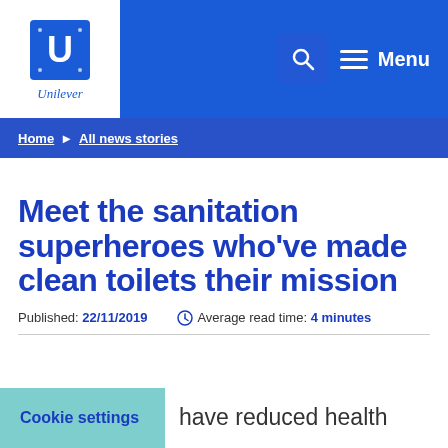[Figure (logo): Unilever logo with ornate U symbol and 'Unilever' text below]
Home ▶ All news stories
Meet the sanitation superheroes who've made clean toilets their mission
Published: 22/11/2019   🕐 Average read time: 4 minutes
have reduced health